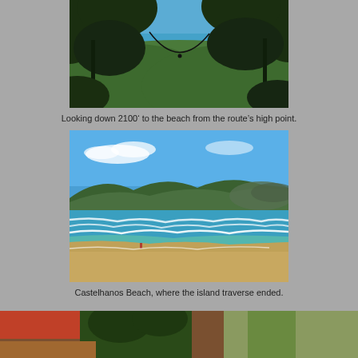[Figure (photo): View looking down through forest canopy to the beach far below and green hillside, sky with blue water visible through trees. Caption: Looking down 2100' to the beach from the route's high point.]
Looking down 2100’ to the beach from the route’s high point.
[Figure (photo): Castelhanos Beach with blue sky, waves breaking on golden sand, green mountains in the background, turquoise water.]
Castelhanos Beach, where the island traverse ended.
[Figure (photo): Partial view of a bottom photo strip showing outdoor/tropical scene.]